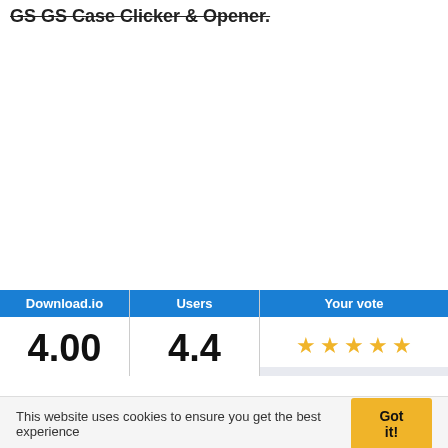GS GS Case Clicker & Opener.
| Download.io | Users | Your vote |
| --- | --- | --- |
| 4.00 | 4.4 | ★ ★ ★ ★ ★ |
This website uses cookies to ensure you get the best experience